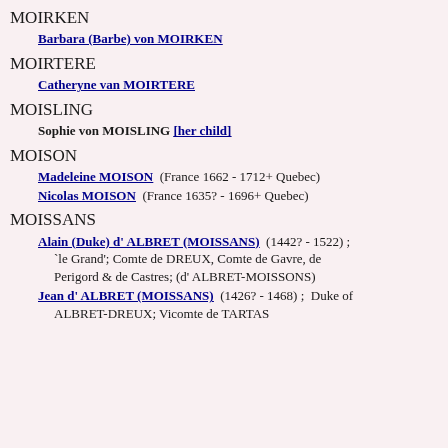MOIRKEN
Barbara (Barbe) von MOIRKEN
MOIRTERE
Catheryne van MOIRTERE
MOISLING
Sophie von MOISLING [her child]
MOISON
Madeleine MOISON  (France 1662 - 1712+ Quebec)
Nicolas MOISON  (France 1635? - 1696+ Quebec)
MOISSANS
Alain (Duke) d' ALBRET (MOISSANS)  (1442? - 1522) ; `le Grand'; Comte de DREUX, Comte de Gavre, de Perigord & de Castres; (d' ALBRET-MOISSONS)
Jean d' ALBRET (MOISSANS)  (1426? - 1468) ;  Duke of ALBRET-DREUX; Vicomte de TARTAS